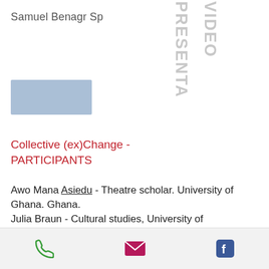Samuel Benagr Sp...
[Figure (other): Rotated text overlay reading 'VIDEO PRESENTATION.' in grey, with a blue rectangle placeholder below]
Collective (ex)Change - PARTICIPANTS
Awo Mana Asiedu - Theatre scholar. University of Ghana. Ghana. Julia Braun - Cultural studies, University of Hildesheim, Germany. Roberta Buiani - Science-artist and artistic co-director of ArtSci Salon at Fields Institute. Canada Jill Carter - Indigenous theatre scholar and artist. CDTPS at U of T.
Phone | Email | Facebook